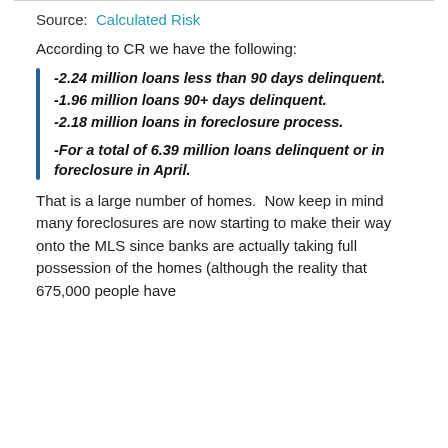Source: Calculated Risk
According to CR we have the following:
-2.24 million loans less than 90 days delinquent.
-1.96 million loans 90+ days delinquent.
-2.18 million loans in foreclosure process.
-For a total of 6.39 million loans delinquent or in foreclosure in April.
That is a large number of homes.  Now keep in mind many foreclosures are now starting to make their way onto the MLS since banks are actually taking full possession of the homes (although the reality that 675,000 people have